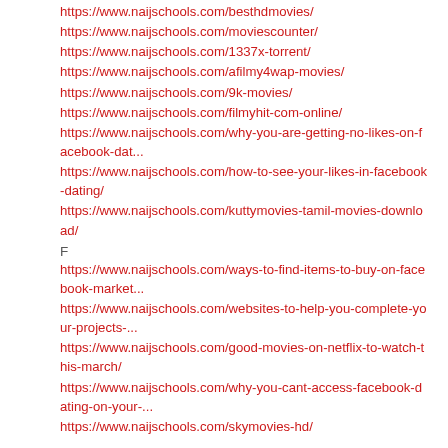https://www.naijschools.com/besthdmovies/
https://www.naijschools.com/moviescounter/
https://www.naijschools.com/1337x-torrent/
https://www.naijschools.com/afilmy4wap-movies/
https://www.naijschools.com/9k-movies/
https://www.naijschools.com/filmyhit-com-online/
https://www.naijschools.com/why-you-are-getting-no-likes-on-facebook-dat...
https://www.naijschools.com/how-to-see-your-likes-in-facebook-dating/
https://www.naijschools.com/kuttymovies-tamil-movies-download/
F
https://www.naijschools.com/ways-to-find-items-to-buy-on-facebook-market...
https://www.naijschools.com/websites-to-help-you-complete-your-projects-...
https://www.naijschools.com/good-movies-on-netflix-to-watch-this-march/
https://www.naijschools.com/why-you-cant-access-facebook-dating-on-your-...
https://www.naijschools.com/skymovies-hd/